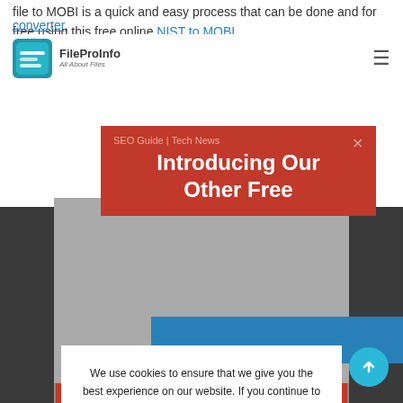file to MOBI is a quick and easy process that can be done and for free using this free online NIST to MOBI converter.
FileProInfo – All About Files
[Figure (screenshot): Website screenshot with dark gray background image area, blue button block, and red bottom bar visible beneath overlapping popups]
[Figure (infographic): Red promotional popup banner with title 'Introducing Our Other Free' and subtitle 'SEO Guide | Tech News', with close X button]
We use cookies to ensure that we give you the best experience on our website. If you continue to use this site we will assume that you accept and understand our Privacy Policy, and our Terms of Service.
I Agree